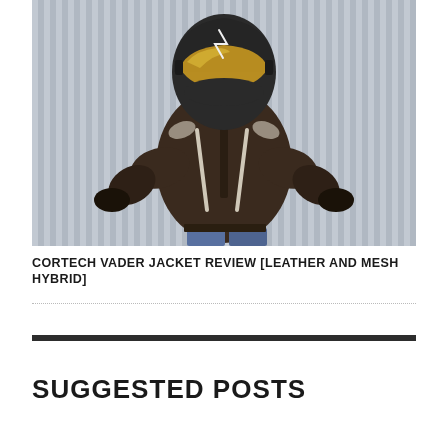[Figure (photo): A person wearing a dark brown leather and mesh motorcycle jacket (Cortech Vader) with hands on hips, a full-face dark helmet with gold visor, and jeans. Standing against a light grey vertical striped background.]
CORTECH VADER JACKET REVIEW [LEATHER AND MESH HYBRID]
SUGGESTED POSTS